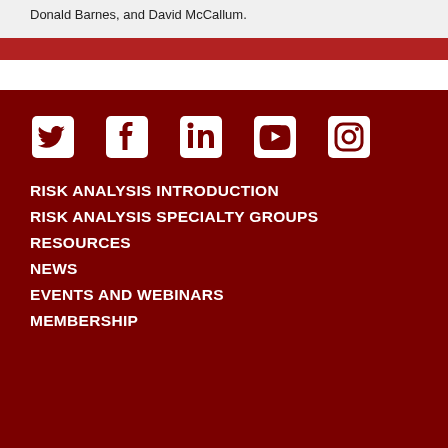Donald Barnes, and David McCallum.
[Figure (infographic): Social media icons row: Twitter, Facebook, LinkedIn, YouTube, Instagram — white icons on dark red background]
RISK ANALYSIS INTRODUCTION
RISK ANALYSIS SPECIALTY GROUPS
RESOURCES
NEWS
EVENTS AND WEBINARS
MEMBERSHIP